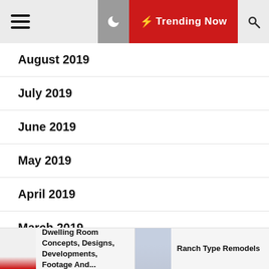Trending Now
August 2019
July 2019
June 2019
May 2019
April 2019
March 2019
February 2019
Dwelling Room Concepts, Designs, Developments, Footage And...
Ranch Type Remodels